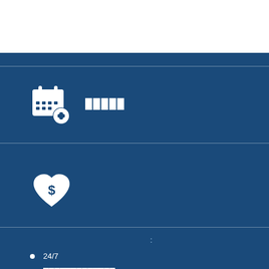[Figure (illustration): Calendar with plus icon - schedule/appointment icon in white on blue background]
█████
[Figure (illustration): Heart with dollar sign icon - financial/health benefit icon in white on blue background]
:
24/7
&
/ — @